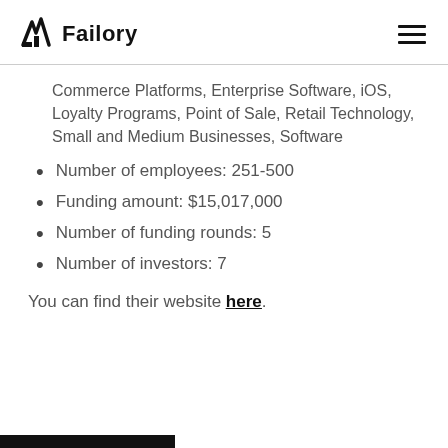Failory
Commerce Platforms, Enterprise Software, iOS, Loyalty Programs, Point of Sale, Retail Technology, Small and Medium Businesses, Software
Number of employees: 251-500
Funding amount: $15,017,000
Number of funding rounds: 5
Number of investors: 7
You can find their website here.